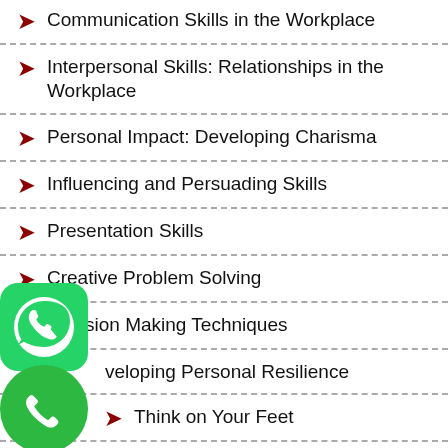Communication Skills in the Workplace
Interpersonal Skills: Relationships in the Workplace
Personal Impact: Developing Charisma
Influencing and Persuading Skills
Presentation Skills
Creative Problem Solving
Decision Making Techniques
Developing Personal Resilience
Think on Your Feet
Emotional Intelligence
An Introduction to Neuro-Linguistic